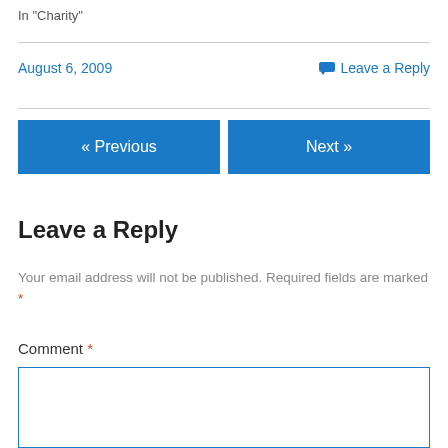In "Charity"
August 6, 2009
Leave a Reply
« Previous
Next »
Leave a Reply
Your email address will not be published. Required fields are marked *
Comment *